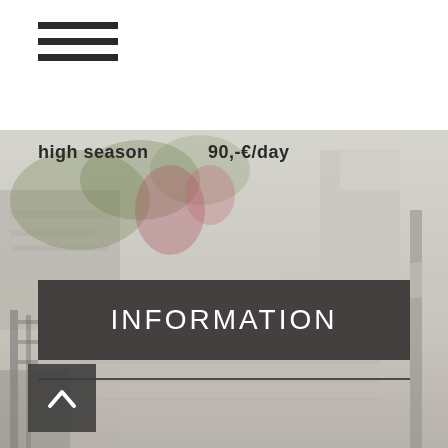[Figure (other): Hamburger/menu icon with three horizontal lines in top-left corner of white header bar]
[Figure (photo): Outdoor Mediterranean alleyway or courtyard with stone walls, ivy, flowers, and buildings. Faded/muted tones. Text overlays visible.]
high season    90,-€/day
INFORMATION
[Figure (other): Back-to-top arrow button, dark square with upward chevron]